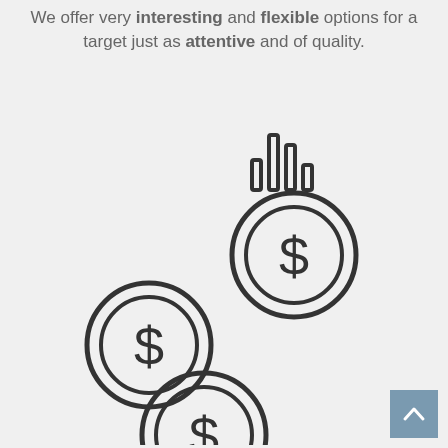We offer very interesting and flexible options for a target just as attentive and of quality.
[Figure (illustration): Three stacked coin icons with dollar signs arranged diagonally from upper-right to lower-left, with a bar chart icon above the top coin.]